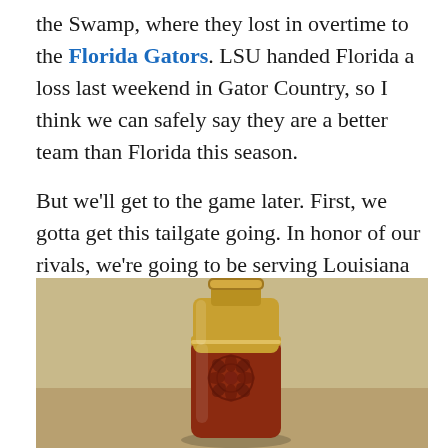the Swamp, where they lost in overtime to the Florida Gators. LSU handed Florida a loss last weekend in Gator Country, so I think we can safely say they are a better team than Florida this season.
But we'll get to the game later. First, we gotta get this tailgate going. In honor of our rivals, we're going to be serving Louisiana classics today, mixed in with a touch of Kentucky. We'll start in the state of Kentucky, county of Anderson, city of Lawrenceburg for our cocktail:
[Figure (photo): A decorative glass bottle with a gold cap containing amber/red liquid, possibly bourbon or whiskey, with rose embossing on the bottle, set against a tan/beige background.]